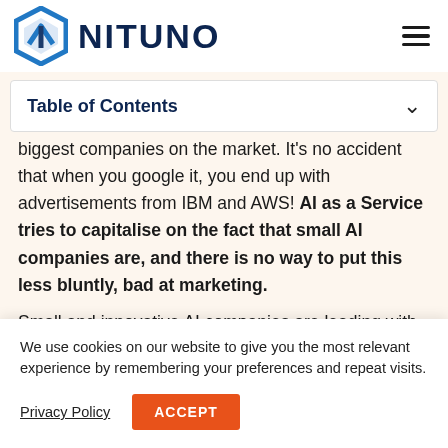[Figure (logo): Nituno logo: blue hexagonal icon on the left and bold dark navy text NITUNO on the right, with a hamburger menu icon on the far right]
Table of Contents
biggest companies on the market. It's no accident that when you google it, you end up with advertisements from IBM and AWS! AI as a Service tries to capitalise on the fact that small AI companies are, and there is no way to put this less bluntly, bad at marketing.
Small and innovative AI companies are leading with taglines
We use cookies on our website to give you the most relevant experience by remembering your preferences and repeat visits.
Privacy Policy
ACCEPT